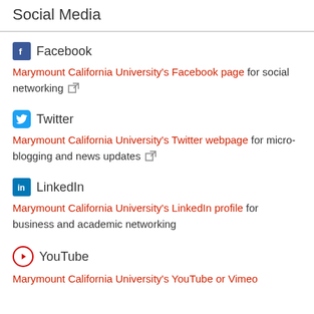Social Media
Facebook
Marymount California University's Facebook page for social networking
Twitter
Marymount California University's Twitter webpage for micro-blogging and news updates
LinkedIn
Marymount California University's LinkedIn profile for business and academic networking
YouTube
Marymount California University's YouTube or Vimeo